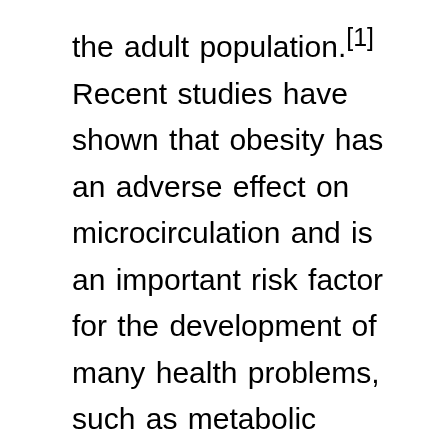the adult population.[1] Recent studies have shown that obesity has an adverse effect on microcirculation and is an important risk factor for the development of many health problems, such as metabolic syndrome (insulin resistance, elevated lipid levels, high blood pressure and increased abdominal girth), ischemic heart disease, heart failure, and other cardiovascular diseases.[2]